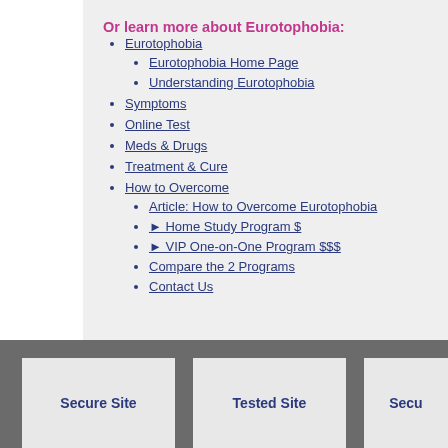Or learn more about Eurotophobia:
Eurotophobia
Eurotophobia Home Page
Understanding Eurotophobia
Symptoms
Online Test
Meds & Drugs
Treatment & Cure
How to Overcome
Article: How to Overcome Eurotophobia
► Home Study Program $
► VIP One-on-One Program $$$
Compare the 2 Programs
Contact Us
Secure Site   Tested Site   Secu...